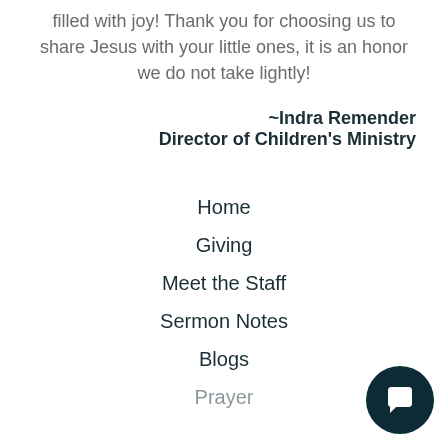filled with joy! Thank you for choosing us to share Jesus with your little ones, it is an honor we do not take lightly!
~Indra Remender
Director of Children's Ministry
Home
Giving
Meet the Staff
Sermon Notes
Blogs
Prayer